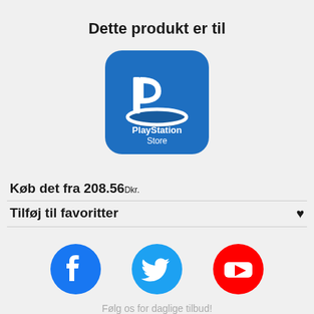Dette produkt er til
[Figure (logo): PlayStation Store logo — blue rounded square with white PlayStation symbol and text 'PlayStation Store']
Køb det fra 208.56 Dkr.
Tilføj til favoritter
[Figure (illustration): Facebook, Twitter, and YouTube social media icons in a row]
Følg os for daglige tilbud!
[Figure (illustration): Additional social media icons row (partially visible at bottom)]